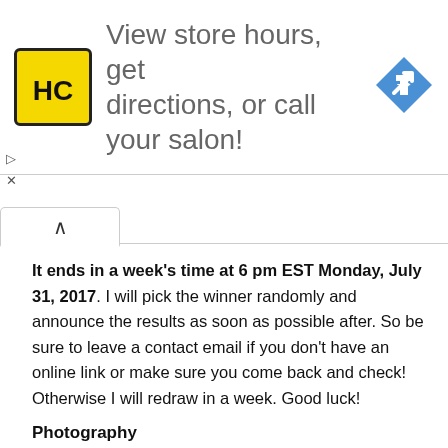[Figure (advertisement): HC salon store ad banner with yellow HC logo on left, text 'View store hours, get directions, or call your salon!' in the center, and a blue navigation arrow icon on the right]
It ends in a week's time at 6 pm EST Monday, July 31, 2017. I will pick the winner randomly and announce the results as soon as possible after. So be sure to leave a contact email if you don't have an online link or make sure you come back and check! Otherwise I will redraw in a week. Good luck!
Photography
I used natural light, my iPhone 6S with the ProCamera app and the Modahaus TS400 tabletop studio for final product photography. The tutorial pictures were taken with the same equipment but with artificial lights in my windowless basement studio. Check out my How to Photograph Jewelry Webinar .